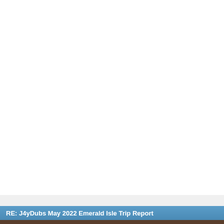[Figure (other): Large white/blank area representing main page content area]
RE: J4yDubs May 2022 Emerald Isle Trip Report
[Figure (photo): Partial photo strip visible at the very bottom of the page]